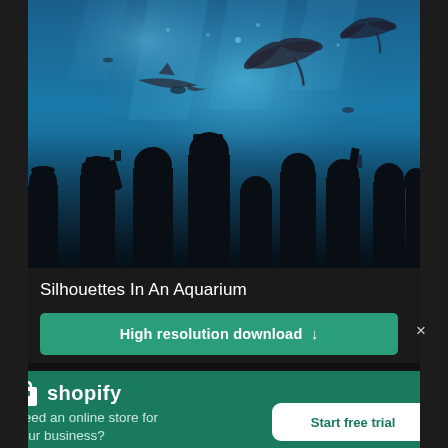[Figure (photo): Silhouettes of people standing in front of a large aquarium tank with manta rays and sharks swimming in blue-lit water]
Silhouettes In An Aquarium
High resolution download ↓
[Figure (logo): Shopify logo — shopping bag icon followed by 'shopify' wordmark in white]
Need an online store for your business?
Start free trial